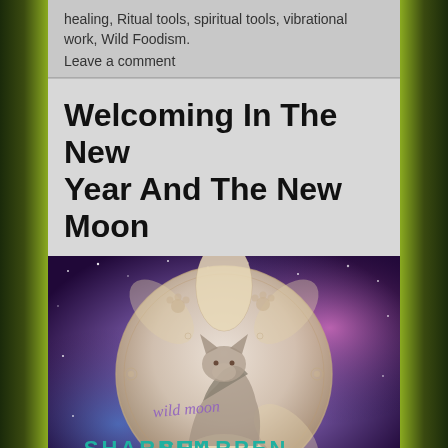healing, Ritual tools, spiritual tools, vibrational work, Wild Foodism.
Leave a comment
Welcoming In The New Year And The New Moon
[Figure (illustration): Circular mandala-style illustration with a wolf howling, paw prints, and cursive text 'Wild Moon' overlaid, with 'SHARPEN YOUR' text at the bottom, set against a cosmic purple-blue starry background]